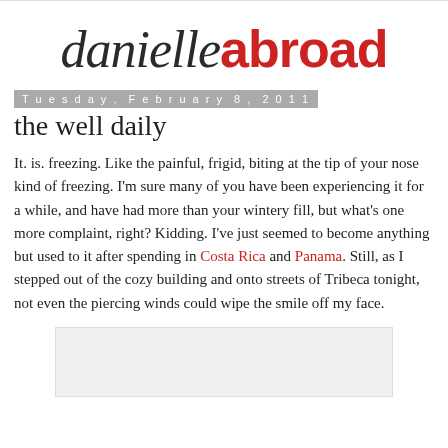danielle abroad
Tuesday, February 8, 2011
the well daily
It. is. freezing. Like the painful, frigid, biting at the tip of your nose kind of freezing. I'm sure many of you have been experiencing it for a while, and have had more than your wintery fill, but what's one more complaint, right? Kidding. I've just seemed to become anything but used to it after spending in Costa Rica and Panama. Still, as I stepped out of the cozy building and onto streets of Tribeca tonight, not even the piercing winds could wipe the smile off my face.
[Figure (other): Placeholder image area (light gray box)]